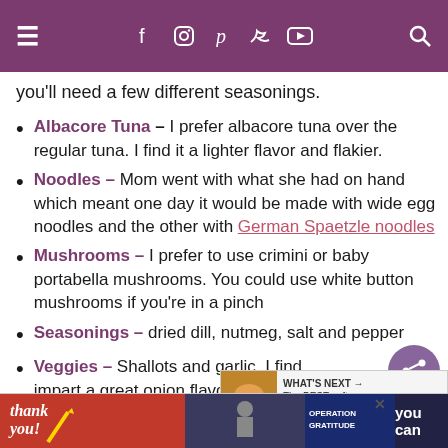Navigation bar with hamburger menu, social icons (Facebook, Instagram, Pinterest, Twitter, YouTube), and search
you'll need a few different seasonings.
Albacore Tuna – I prefer albacore tuna over the regular tuna. I find it a lighter flavor and flakier.
Noodles – Mom went with what she had on hand which meant one day it would be made with wide egg noodles and the other with German Spaetzle noodles
Mushrooms – I prefer to use crimini or baby portabella mushrooms. You could use white button mushrooms if you're in a pinch
Seasonings – dried dill, nutmeg, salt and pepper
Veggies – Shallots and garlic. I find impart a great onion flavor but in a mild way
Liquid – you want both veggie stock and heavy